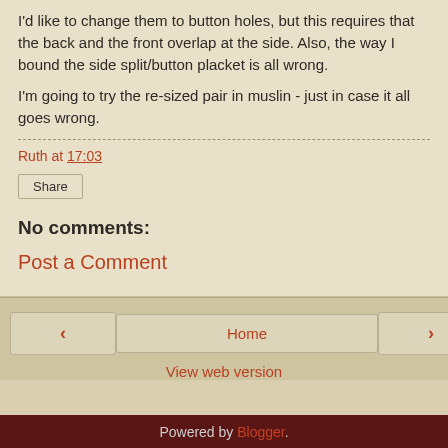I'd like to change them to button holes, but this requires that the back and the front overlap at the side. Also, the way I bound the side split/button placket is all wrong.
I'm going to try the re-sized pair in muslin - just in case it all goes wrong.
Ruth at 17:03
Share
No comments:
Post a Comment
< Home >
View web version
Powered by Blogger.